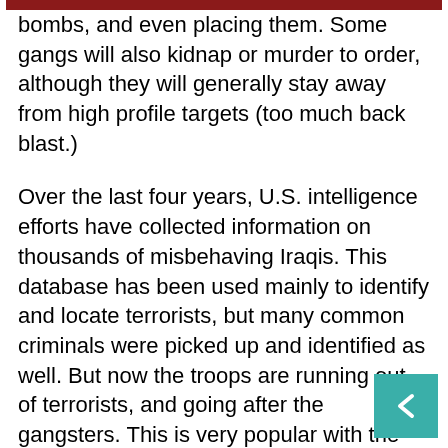bombs, and even placing them. Some gangs will also kidnap or murder to order, although they will generally stay away from high profile targets (too much back blast.)
Over the last four years, U.S. intelligence efforts have collected information on thousands of misbehaving Iraqis. This database has been used mainly to identify and locate terrorists, but many common criminals were picked up and identified as well. But now the troops are running out of terrorists, and going after the gangsters. This is very popular with the average Iraqi, who has suffered more from the mobsters, than from the terrorists. But this crackdown on crime has created new opportunities to hurt the remaining terrorists groups. The criminals, when caught, or facing some serious damage to their organization, will try to negotiate. The gangsters do have something quite